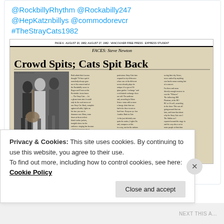@RockbillyRhythm @Rockabilly247 @HepKatznbillys @commodorevcr #TheStrayCats1982
[Figure (photo): Scanned newspaper clipping with headline 'FACES: Steve Newton' subheader, main headline 'Crowd Spits; Cats Spit Back', photo of band members, and multiple columns of article text.]
5 likes
Privacy & Cookies: This site uses cookies. By continuing to use this website, you agree to their use.
To find out more, including how to control cookies, see here: Cookie Policy
Close and accept